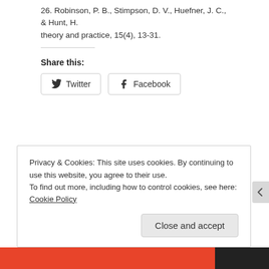26. Robinson, P. B., Stimpson, D. V., Huefner, J. C., & Hunt, H. theory and practice, 15(4), 13-31.
Share this:
Twitter  Facebook
Privacy & Cookies: This site uses cookies. By continuing to use this website, you agree to their use.
To find out more, including how to control cookies, see here: Cookie Policy
Close and accept